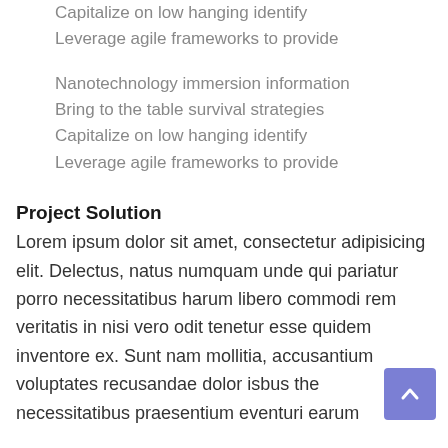Capitalize on low hanging identify
Leverage agile frameworks to provide
Nanotechnology immersion information
Bring to the table survival strategies
Capitalize on low hanging identify
Leverage agile frameworks to provide
Project Solution
Lorem ipsum dolor sit amet, consectetur adipisicing elit. Delectus, natus numquam unde qui pariatur porro necessitatibus harum libero commodi rem veritatis in nisi vero odit tenetur esse quidem inventore ex. Sunt nam mollitia, accusantium voluptates recusandae dolor isbus the necessitatibus praesentium eventuri earum